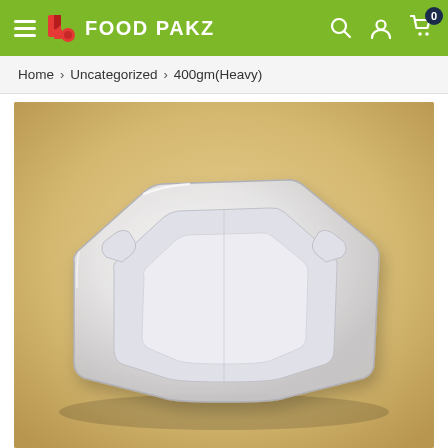FOOD PAKZ — navigation header with hamburger menu, search, account, and cart (0 items)
Home › Uncategorized › 400gm(Heavy)
[Figure (photo): Transparent plastic food container tray (400gm Heavy) on a beige/yellow background, viewed from a slight overhead angle showing the rectangular tray with inner cavity]